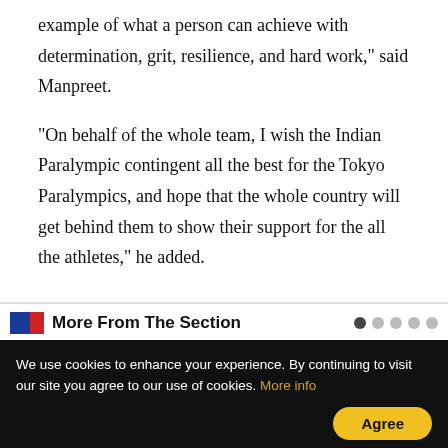example of what a person can achieve with determination, grit, resilience, and hard work," said Manpreet.
"On behalf of the whole team, I wish the Indian Paralympic contingent all the best for the Tokyo Paralympics, and hope that the whole country will get behind them to show their support for the all the athletes," he added.
More From The Section
[Figure (photo): Image placeholder in gray, partially visible at bottom of article section]
We use cookies to enhance your experience. By continuing to visit our site you agree to our use of cookies. More info